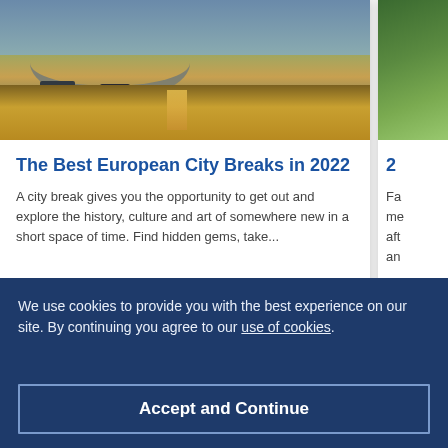[Figure (photo): Canal scene with arched bridge and boats at dusk/golden hour, Amsterdam-style waterway with golden reflections on water]
The Best European City Breaks in 2022
A city break gives you the opportunity to get out and explore the history, culture and art of somewhere new in a short space of time. Find hidden gems, take...
[Figure (photo): Partial view of a second article card with green/nature photo, title starting with '2']
Fa... me... aft... an...
We use cookies to provide you with the best experience on our site. By continuing you agree to our use of cookies.
Accept and Continue